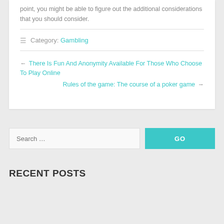point, you might be able to figure out the additional considerations that you should consider.
≡ Category: Gambling
← There Is Fun And Anonymity Available For Those Who Choose To Play Online
Rules of the game: The course of a poker game →
Search …
RECENT POSTS